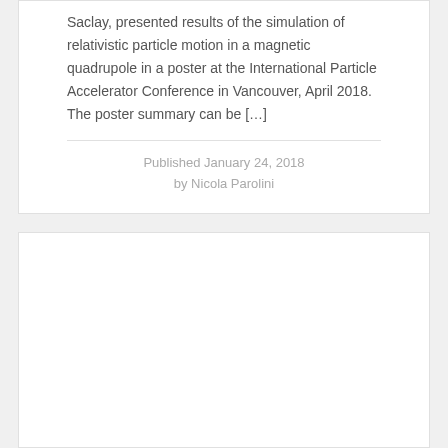Saclay, presented results of the simulation of relativistic particle motion in a magnetic quadrupole in a poster at the International Particle Accelerator Conference in Vancouver, April 2018. The poster summary can be [...]
Published January 24, 2018
by Nicola Parolini